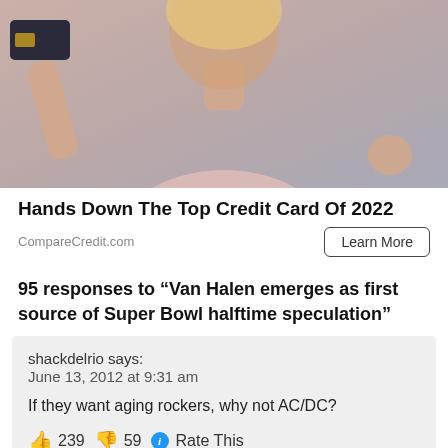[Figure (photo): Woman in pink sweatshirt holding up a dark credit card in one hand and making a fist with the other hand, on a light gray background]
Hands Down The Top Credit Card Of 2022
CompareCredit.com
Learn More
95 responses to “Van Halen emerges as first source of Super Bowl halftime speculation”
shackdelrio says:
June 13, 2012 at 9:31 am

If they want aging rockers, why not AC/DC?

👍 239 👎 59 ⓘ Rate This